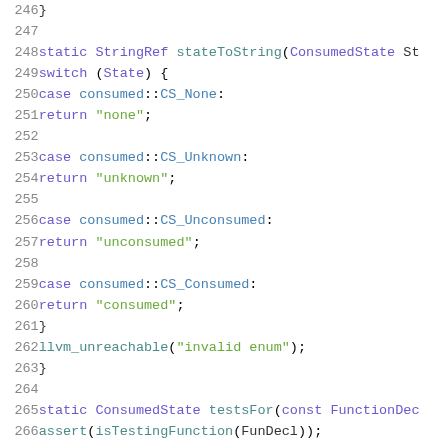[Figure (screenshot): Source code screenshot showing C++ function stateToString and beginning of testsFor function, lines 246-266, with syntax highlighting in dark blue/green/teal on white background.]